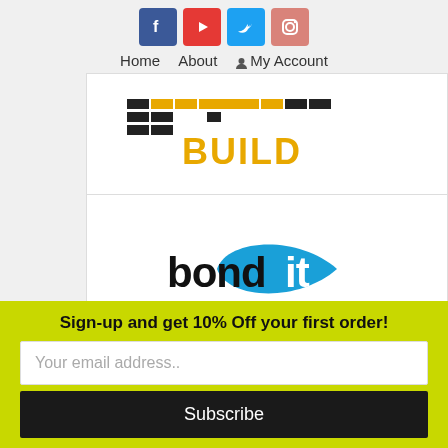Home  About  My Account
[Figure (logo): NeverBuild logo with black and yellow text blocks]
[Figure (logo): bond-it logo with black text and blue swoosh shape]
Sign-up and get 10% Off your first order!
Your email address..
Subscribe